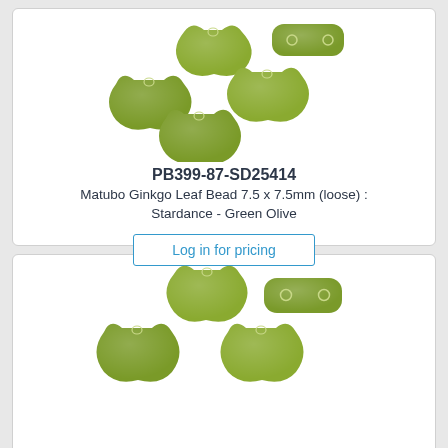[Figure (photo): Five olive green Matubo Ginkgo Leaf beads with sparkle finish, fan/leaf shaped, shown loose including one showing the two holes on the side]
PB399-87-SD25414
Matubo Ginkgo Leaf Bead 7.5 x 7.5mm (loose) : Stardance - Green Olive
Log in for pricing
[Figure (photo): Four olive green Matubo Ginkgo Leaf beads with sparkle finish, fan/leaf shaped, shown loose including one showing the two holes on the side]